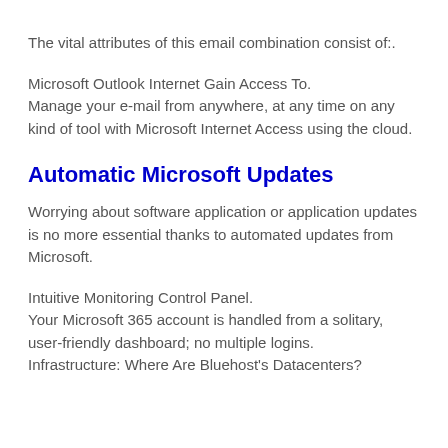The vital attributes of this email combination consist of:.
Microsoft Outlook Internet Gain Access To.
Manage your e-mail from anywhere, at any time on any kind of tool with Microsoft Internet Access using the cloud.
Automatic Microsoft Updates
Worrying about software application or application updates is no more essential thanks to automated updates from Microsoft.
Intuitive Monitoring Control Panel.
Your Microsoft 365 account is handled from a solitary, user-friendly dashboard; no multiple logins.
Infrastructure: Where Are Bluehost's Datacenters?